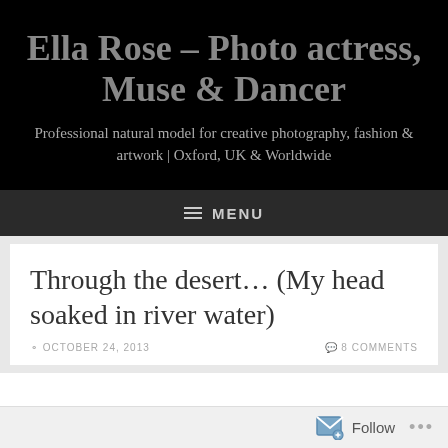Ella Rose – Photo actress, Muse & Dancer
Professional natural model for creative photography, fashion & artwork | Oxford, UK & Worldwide
≡ MENU
Through the desert… (My head soaked in river water)
OCTOBER 24, 2013
8 COMMENTS
Follow